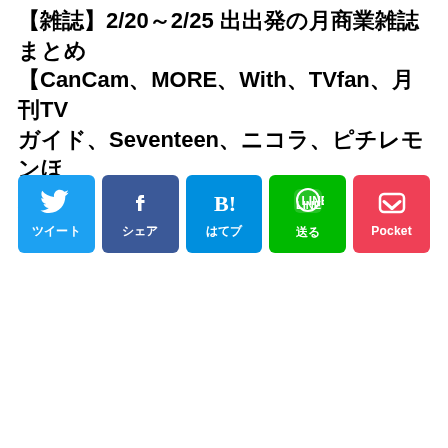【雑誌】2/20～2/25 出出発の月商業雑誌まとめ【CanCam、MORE、With、TVfan、月刊TVガイド、Seventeen、ニコラ、ピチレモンほか】
[Figure (other): Row of five social share buttons: ツイート (Twitter, blue), シェア (Facebook, dark blue), はてブ (Hatena, medium blue), 送る (LINE, green), Pocket (red)]